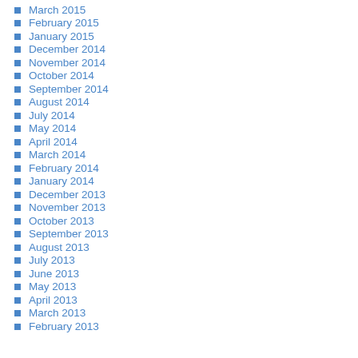March 2015
February 2015
January 2015
December 2014
November 2014
October 2014
September 2014
August 2014
July 2014
May 2014
April 2014
March 2014
February 2014
January 2014
December 2013
November 2013
October 2013
September 2013
August 2013
July 2013
June 2013
May 2013
April 2013
March 2013
February 2013